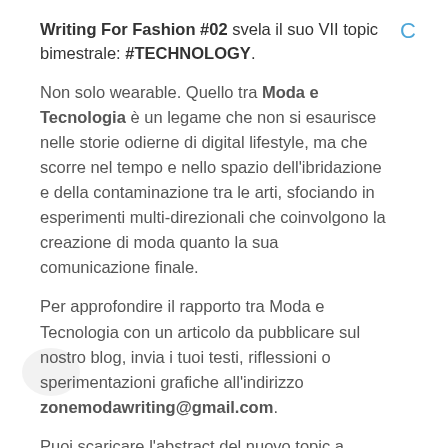Writing For Fashion #02 svela il suo VII topic bimestrale: #TECHNOLOGY.
Non solo wearable. Quello tra Moda e Tecnologia è un legame che non si esaurisce nelle storie odierne di digital lifestyle, ma che scorre nel tempo e nello spazio dell'ibridazione e della contaminazione tra le arti, sfociando in esperimenti multi-direzionali che coinvolgono la creazione di moda quanto la sua comunicazione finale.
Per approfondire il rapporto tra Moda e Tecnologia con un articolo da pubblicare sul nostro blog, invia i tuoi testi, riflessioni o sperimentazioni grafiche all'indirizzo zonemodawriting@gmail.com.
Puoi scaricare l'abstract del nuovo topic a questo link. Istruzioni per partecipare: